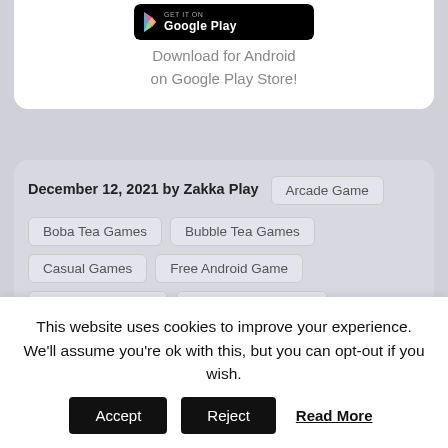[Figure (logo): Google Play Store download button (black rounded rectangle with Google Play logo and text)]
Download for Android
on Google Play Store!
December 12, 2021 by Zakka Play
Arcade Game
Boba Tea Games
Bubble Tea Games
Casual Games
Free Android Game
Google Play Store
Prize Catcher Game
This website uses cookies to improve your experience. We'll assume you're ok with this, but you can opt-out if you wish.
Accept | Reject | Read More